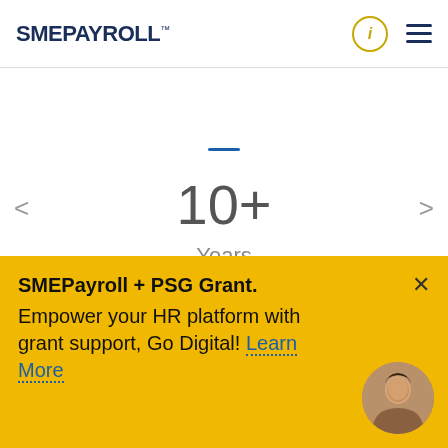[Figure (logo): SMEPayroll logo with 'SME' in dark navy and 'PAYROLL' in blue, trademark symbol, info icon in gold circle, and hamburger menu in dark navy]
10+
Years
[Figure (infographic): WhatsApp chat bubble icon in white on green circular button]
SMEPayroll + PSG Grant. Empower your HR platform with grant support, Go Digital! Learn More